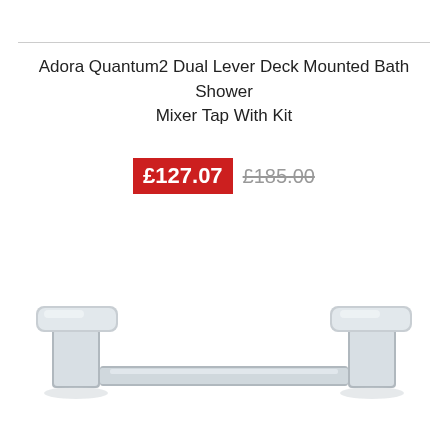Adora Quantum2 Dual Lever Deck Mounted Bath Shower Mixer Tap With Kit
£127.07  £185.00
[Figure (photo): Chrome dual lever deck mounted bath shower mixer tap, showing two modern flat-topped lever handles on a long cross bar, viewed from above and slightly to the front.]